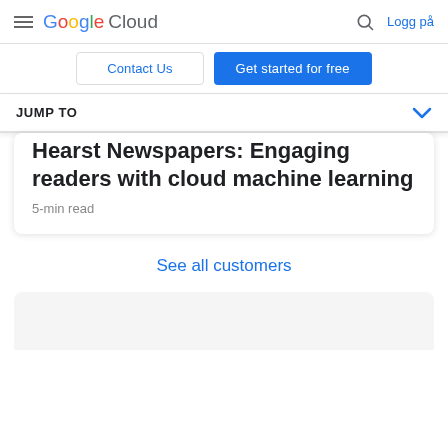Google Cloud — Logg på
Contact Us
Get started for free
JUMP TO
Hearst Newspapers: Engaging readers with cloud machine learning
5-min read
See all customers